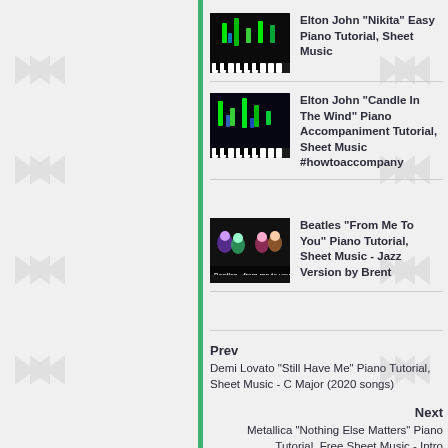[Figure (screenshot): Piano tutorial thumbnail with green falling notes on dark background - Nikita]
Elton John "Nikita" Easy Piano Tutorial, Sheet Music
[Figure (screenshot): Piano tutorial thumbnail with green falling notes on dark background - Candle In The Wind]
Elton John "Candle In The Wind" Piano Accompaniment Tutorial, Sheet Music #howtoaccompany
[Figure (screenshot): Beatles thumbnail showing band members with colorful lighting]
Beatles "From Me To You" Piano Tutorial, Sheet Music - Jazz Version by Brent
Prev
Demi Lovato "Still Have Me" Piano Tutorial, Sheet Music - C Major (2020 songs)
Next
Metallica "Nothing Else Matters" Piano Tutorial, Free Sheet Music - Intro